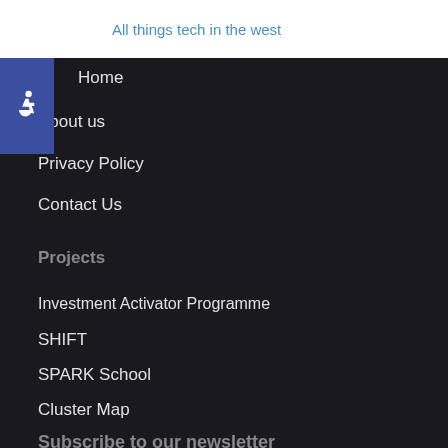All things tech in the west
Home
About us
Privacy Policy
Contact Us
Projects
Investment Activator Programme
SHIFT
SPARK School
Cluster Map
Subscribe to our newsletter